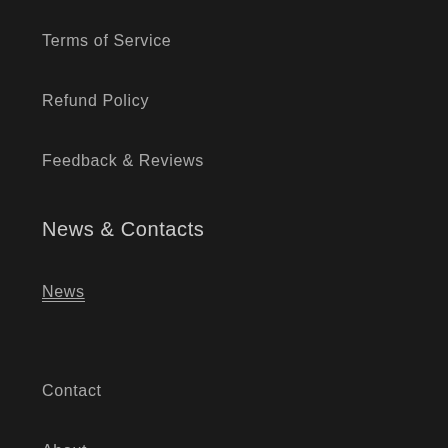Terms of Service
Refund Policy
Feedback & Reviews
News & Contacts
News
Contact
About
Search
Do not sell my personal information